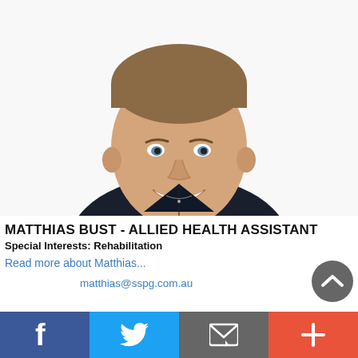[Figure (photo): Professional headshot of Matthias Bust, a young man with short brown hair wearing a dark navy polo shirt, smiling, against a white background.]
MATTHIAS BUST - ALLIED HEALTH ASSISTANT
Special Interests: Rehabilitation
Read more about Matthias...
matthias@sspg.com.au